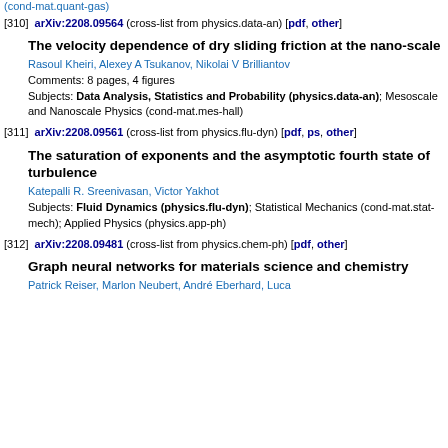(cond-mat.quant-gas)
[310] arXiv:2208.09564 (cross-list from physics.data-an) [pdf, other]
The velocity dependence of dry sliding friction at the nano-scale
Rasoul Kheiri, Alexey A Tsukanov, Nikolai V Brilliantov
Comments: 8 pages, 4 figures
Subjects: Data Analysis, Statistics and Probability (physics.data-an); Mesoscale and Nanoscale Physics (cond-mat.mes-hall)
[311] arXiv:2208.09561 (cross-list from physics.flu-dyn) [pdf, ps, other]
The saturation of exponents and the asymptotic fourth state of turbulence
Katepalli R. Sreenivasan, Victor Yakhot
Subjects: Fluid Dynamics (physics.flu-dyn); Statistical Mechanics (cond-mat.stat-mech); Applied Physics (physics.app-ph)
[312] arXiv:2208.09481 (cross-list from physics.chem-ph) [pdf, other]
Graph neural networks for materials science and chemistry
Patrick Reiser, Marlon Neubert, André Eberhard, Luca...